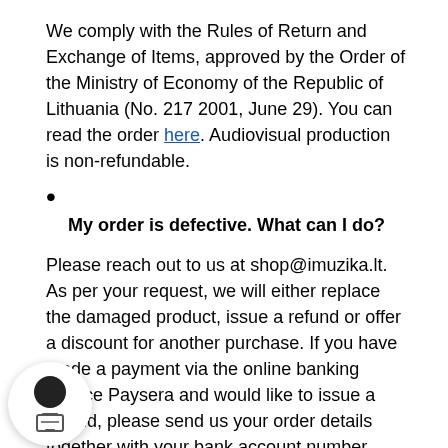We comply with the Rules of Return and Exchange of Items, approved by the Order of the Ministry of Economy of the Republic of Lithuania (No. 217 2001, June 29). You can read the order here. Audiovisual production is non-refundable.
My order is defective. What can I do?
Please reach out to us at shop@imuzika.lt. As per your request, we will either replace the damaged product, issue a refund or offer a discount for another purchase. If you have made a payment via the online banking service Paysera and would like to issue a refund, please send us your order details together with your bank account number.
Is it safe to make purchases on this website?
Yes. Once you log in to our website, all information is encrypted by SSL protocol.